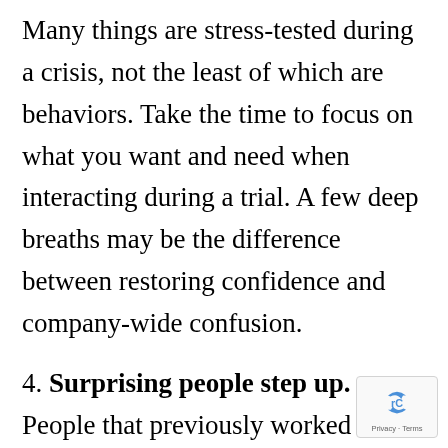Many things are stress-tested during a crisis, not the least of which are behaviors. Take the time to focus on what you want and need when interacting during a trial. A few deep breaths may be the difference between restoring confidence and company-wide confusion.
4. Surprising people step up. People that previously worked diligently and quietly raise their hands to help. Whatever fear stopped them before becomes less critical than the more